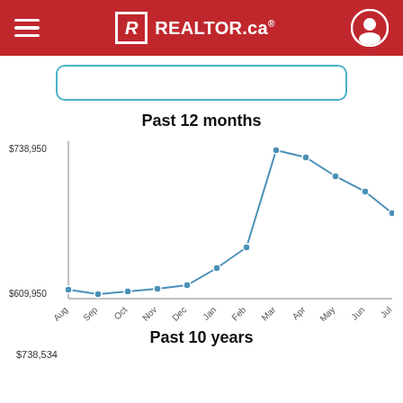REALTOR.ca
[Figure (other): Search bar input with teal border]
Past 12 months
[Figure (line-chart): Past 12 months]
Past 10 years
$738,534